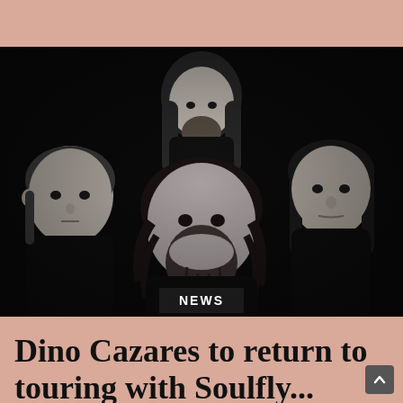[Figure (photo): Black and white band photo of four heavy metal musicians with long hair and beards against a dark background]
NEWS
Dino Cazares to return to touring with Soulfly...